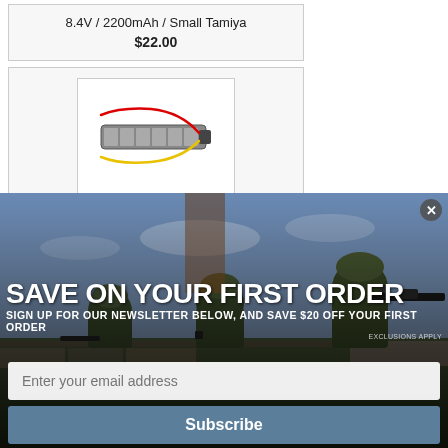8.4V / 2200mAh / Small Tamiya
$22.00
[Figure (photo): Product image of a LiPo/NiMH airsoft battery stick pack with red/yellow wires and small Tamiya connector]
9.6V / 1600mAh / Small Tamiya
$25.00
[Figure (photo): Promotional popup banner showing soldiers in military camouflage gear aiming rifles, with overlay text 'SAVE ON YOUR FIRST ORDER - SIGN UP FOR OUR NEWSLETTER BELOW, AND SAVE $20 OFF YOUR FIRST ORDER - EXCLUSIONS APPLY', an email input field labeled 'Enter your email address', and a Subscribe button]
SAVE ON YOUR FIRST ORDER
SIGN UP FOR OUR NEWSLETTER BELOW, AND SAVE $20 OFF YOUR FIRST ORDER
EXCLUSIONS APPLY
Enter your email address
Subscribe